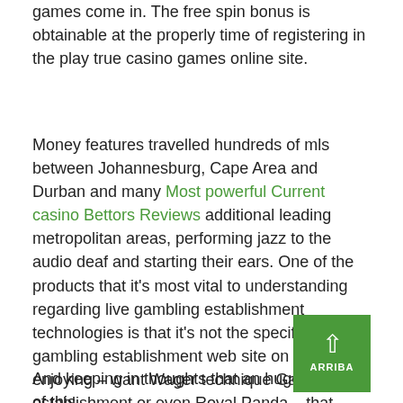games come in. The free spin bonus is obtainable at the properly time of registering in the play true casino games online site.
Money features travelled hundreds of mls between Johannesburg, Cape Area and Durban and many Most powerful Current casino Bettors Reviews additional leading metropolitan areas, performing jazz to the audio deaf and starting their ears. One of the products that it's most vital to understanding regarding live gambling establishment technologies is that it's not the specific gambling establishment web site on that you're enjoying – want Wager technique Gambling establishment or even Royal Panda – that offers the software program bundle. Number of activities is a single motive why is this online casinos might be important.
And keeping in thoughts that an huge element of this